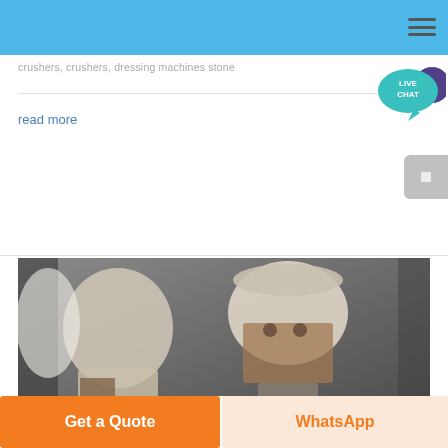crushers, crushers, dressing machines stone
read more
[Figure (photo): Black and white photograph of two ceramic or stone jars/vessels, one showing damage or markings on its side]
Get a Quote
WhatsApp